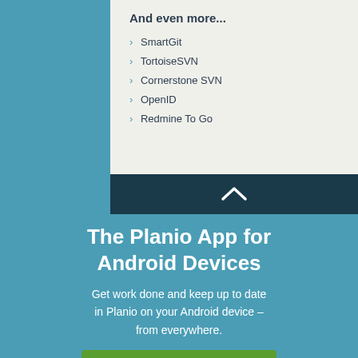And even more...
SmartGit
TortoiseSVN
Cornerstone SVN
OpenID
Redmine To Go
The Planio App for Android Devices
Get work done and keep up to date in Planio on your Android device – from everywhere.
Try it out and see for yourself!